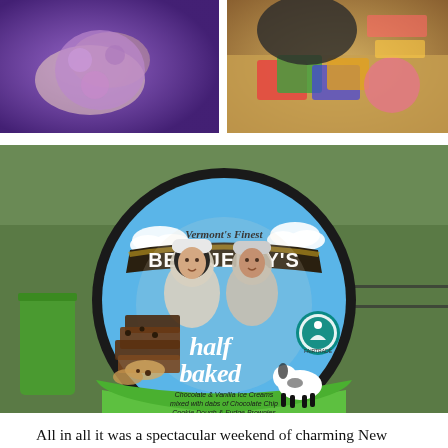[Figure (photo): Close-up photo of hands holding a purple fluffy item under purple/blue lighting]
[Figure (photo): Photo of a person's hands over a colorful board game or educational materials on a table]
[Figure (photo): Large outdoor Ben & Jerry's Half Baked ice cream container sign/display showing the classic Ben & Jerry's branding with Vermont's Finest text, two children in winter hats, brownies, cookie dough, a cow, and Fairtrade logo. Flavor description: Chocolate & Vanilla Ice Creams mixed with dabs of Chocolate Chip Cookie Dough & Fudge Brownies]
All in all it was a spectacular weekend of charming New England winter vacationing. Good thing no one listened to